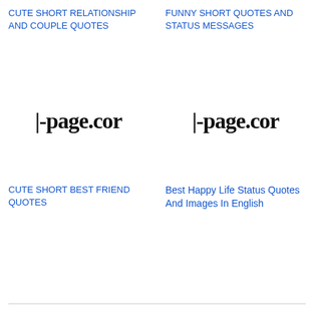CUTE SHORT RELATIONSHIP AND COUPLE QUOTES
FUNNY SHORT QUOTES AND STATUS MESSAGES
[Figure (logo): Website logo showing text '-page.cor' in bold serif font, partially cropped]
[Figure (logo): Website logo showing text '-page.cor' in bold serif font, partially cropped]
CUTE SHORT BEST FRIEND QUOTES
Best Happy Life Status Quotes And Images In English